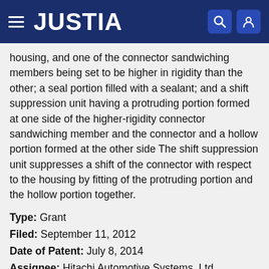JUSTIA
housing, and one of the connector sandwiching members being set to be higher in rigidity than the other; a seal portion filled with a sealant; and a shift suppression unit having a protruding portion formed at one side of the higher-rigidity connector sandwiching member and the connector and a hollow portion formed at the other side The shift suppression unit suppresses a shift of the connector with respect to the housing by fitting of the protruding portion and the hollow portion together.
Type: Grant
Filed: September 11, 2012
Date of Patent: July 8, 2014
Assignee: Hitachi Automotive Systems, Ltd.
Inventors: Hironori Ohhashi, Yuichi Yanagisawa